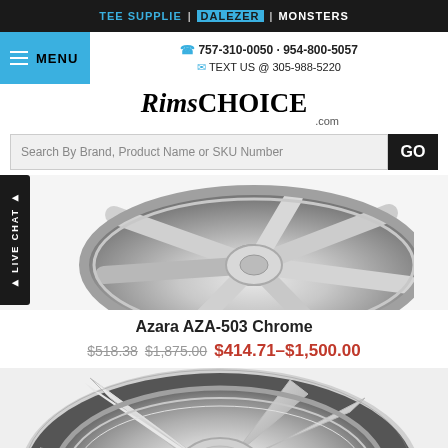TEE SUPPLIE | DALEZER | MONSTERS
757-310-0050 · 954-800-5057 | TEXT US @ 305-988-5220
[Figure (logo): RimsChoice.com logo in bold serif italic font]
Search By Brand, Product Name or SKU Number
[Figure (photo): Azara AZA-503 Chrome wheel, top angled view showing silver chrome spokes]
Azara AZA-503 Chrome
$518.38  $1,875.00  $414.71–$1,500.00
[Figure (photo): Azara AZA-503 Chrome wheel, larger front-facing view showing detailed chrome spokes and center cap]